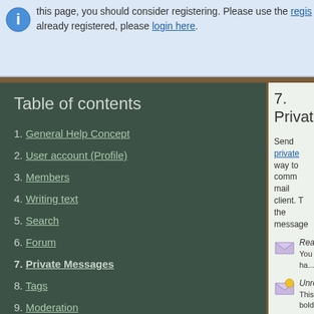this page, you should consider registering. Please use the regis... already registered, please login here.
Table of contents
1. General Help Concept
2. User account (Profile)
3. Members
4. Writing text
5. Search
6. Forum
7. Private Messages
8. Tags
9. Moderation
7. Privat...
Send private... way to comm... mail client. T... the message...
Read... You ha...
Unrea... This m... bold ti...
Reply... You ha...
Forwa... You ha...
Own foldo...